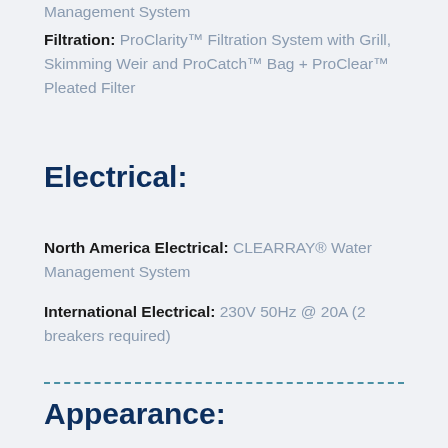Management System
Filtration: ProClarity™ Filtration System with Grill, Skimming Weir and ProCatch™ Bag + ProClear™ Pleated Filter
Electrical:
North America Electrical: CLEARRAY® Water Management System
International Electrical: 230V 50Hz @ 20A (2 breakers required)
Appearance: